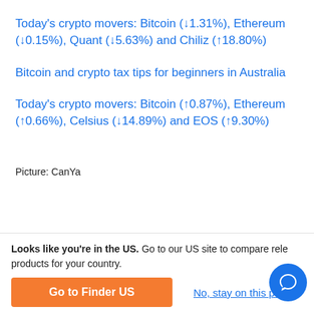Today's crypto movers: Bitcoin (↓1.31%), Ethereum (↓0.15%), Quant (↓5.63%) and Chiliz (↑18.80%)
Bitcoin and crypto tax tips for beginners in Australia
Today's crypto movers: Bitcoin (↑0.87%), Ethereum (↑0.66%), Celsius (↓14.89%) and EOS (↑9.30%)
Picture: CanYa
Looks like you're in the US. Go to our US site to compare rele products for your country.
Go to Finder US
No, stay on this page